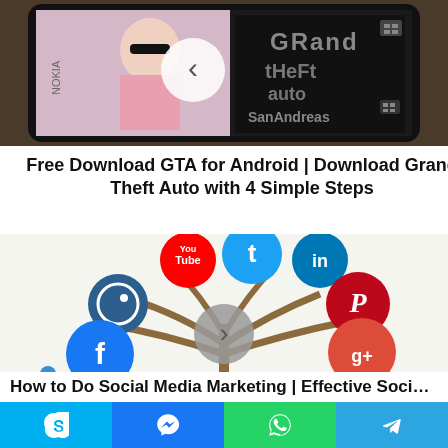[Figure (photo): GTA San Andreas game displayed on a Nokia smartphone screen, with back navigation arrow overlay]
Free Download GTA for Android | Download Grand Theft Auto with 4 Simple Steps
[Figure (illustration): Social media marketing tree illustration showing icons for YouTube, Twitter, LinkedIn, Instagram, Facebook, Pinterest, Google+, with Social and Media labels at the bottom]
How to Do Social Media Marketing | Effective Soci…
Skype | Messenger | WhatsApp | Telegram